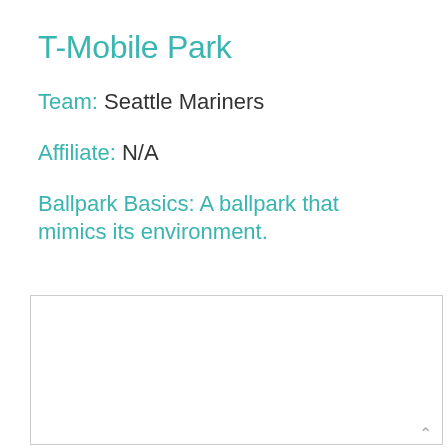T-Mobile Park
Team: Seattle Mariners
Affiliate: N/A
Ballpark Basics: A ballpark that mimics its environment.
[Figure (photo): Empty white image box with light gray border]